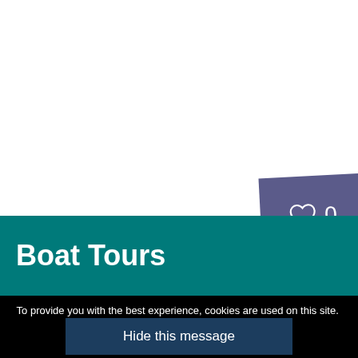[Figure (screenshot): White area at top of webpage screenshot]
[Figure (illustration): Purple/slate colored heart badge with heart icon outline and count '0', slightly rotated]
Boat Tours
To provide you with the best experience, cookies are used on this site.  Learn more
Hide this message